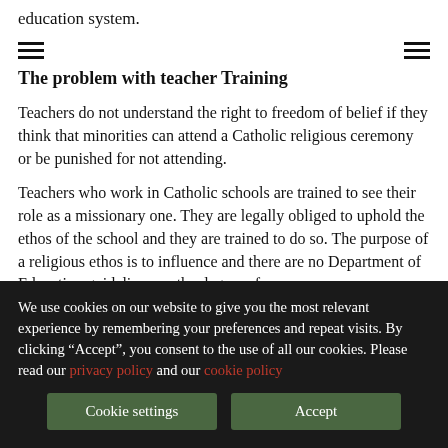education system.
The problem with teacher Training
Teachers do not understand the right to freedom of belief if they think that minorities can attend a Catholic religious ceremony or be punished for not attending.
Teachers who work in Catholic schools are trained to see their role as a missionary one. They are legally obliged to uphold the ethos of the school and they are trained to do so. The purpose of a religious ethos is to influence and there are no Department of Education guidelines on the degree of
We use cookies on our website to give you the most relevant experience by remembering your preferences and repeat visits. By clicking “Accept”, you consent to the use of all our cookies. Please read our privacy policy and our cookie policy